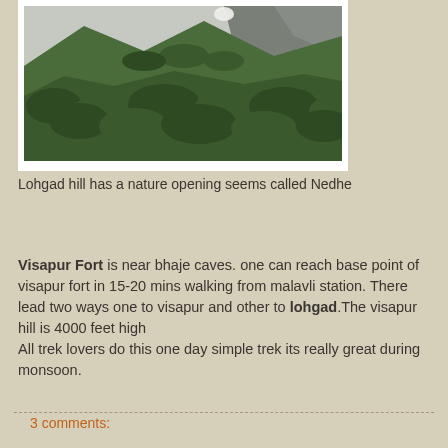[Figure (photo): Photograph of Lohgad hill showing dense green forest vegetation on steep rocky hillside with misty cliffs in the background]
Lohgad hill has a nature opening seems called Nedhe
Visapur Fort is near bhaje caves. one can reach base point of visapur fort in 15-20 mins walking from malavli station. There lead two ways one to visapur and other to lohgad.The visapur hill is 4000 feet high
All trek lovers do this one day simple trek its really great during monsoon.
3 comments: